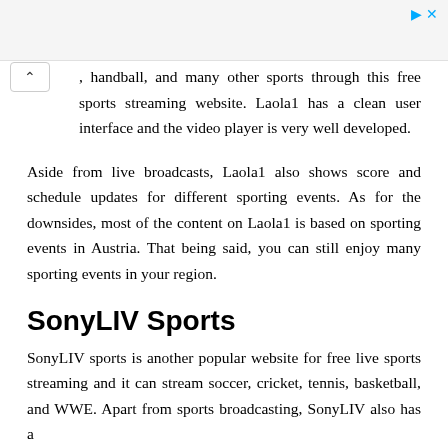, handball, and many other sports through this free sports streaming website. Laola1 has a clean user interface and the video player is very well developed.
Aside from live broadcasts, Laola1 also shows score and schedule updates for different sporting events. As for the downsides, most of the content on Laola1 is based on sporting events in Austria. That being said, you can still enjoy many sporting events in your region.
SonyLIV Sports
SonyLIV sports is another popular website for free live sports streaming and it can stream soccer, cricket, tennis, basketball, and WWE. Apart from sports broadcasting, SonyLIV also has a